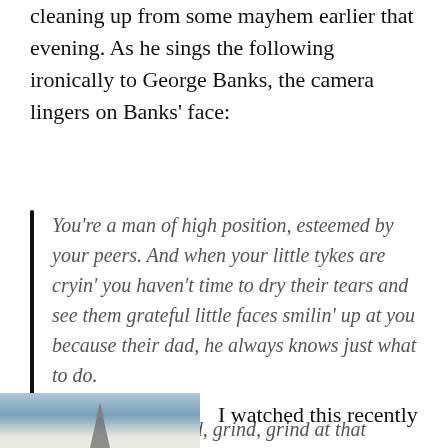cleaning up from some mayhem earlier that evening. As he sings the following ironically to George Banks, the camera lingers on Banks' face:
You're a man of high position, esteemed by your peers. And when your little tykes are cryin' you haven't time to dry their tears and see them grateful little faces smilin' up at you because their dad, he always knows just what to do.

You've got to grind, grind, grind at that grindstone though childhood slips like sand through a sieve. And all too soon they've up grown and then they've flown and it's too late for you to give just that spoonful of sugar to help the medicine go down...
[Figure (photo): A partial image at the bottom left showing what appears to be an outdoor scene, possibly with a person or figure visible.]
I watched this recently